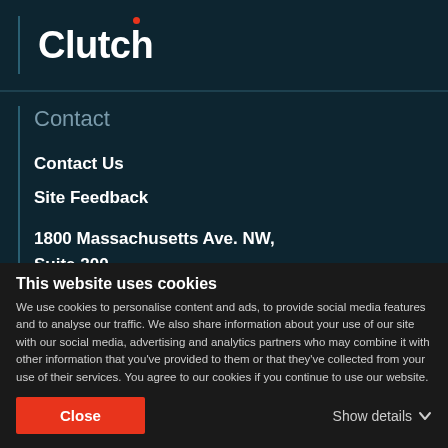[Figure (logo): Clutch logo with red dot above the 't', white text on dark teal background]
Contact
Contact Us
Site Feedback
1800 Massachusetts Ave. NW,
Suite 200
Washington DC 20036
This website uses cookies
We use cookies to personalise content and ads, to provide social media features and to analyse our traffic. We also share information about your use of our site with our social media, advertising and analytics partners who may combine it with other information that you've provided to them or that they've collected from your use of their services. You agree to our cookies if you continue to use our website.
Close
Show details